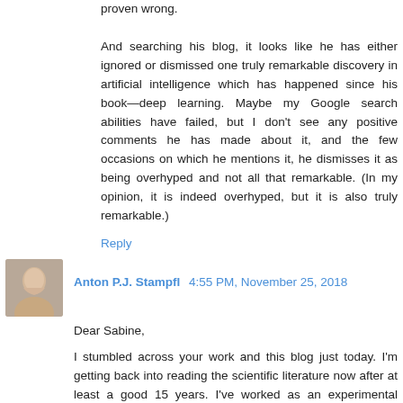proven wrong. And searching his blog, it looks like he has either ignored or dismissed one truly remarkable discovery in artificial intelligence which has happened since his book—deep learning. Maybe my Google search abilities have failed, but I don't see any positive comments he has made about it, and the few occasions on which he mentions it, he dismisses it as being overhyped and not all that remarkable. (In my opinion, it is indeed overhyped, but it is also truly remarkable.)
Reply
Anton P.J. Stampfl  4:55 PM, November 25, 2018
Dear Sabine,
I stumbled across your work and this blog just today. I'm getting back into reading the scientific literature now after at least a good 15 years. I've worked as an experimental physicist since 1983 in condensed matter physics mostly using large facilities. I've been put off reading scientific